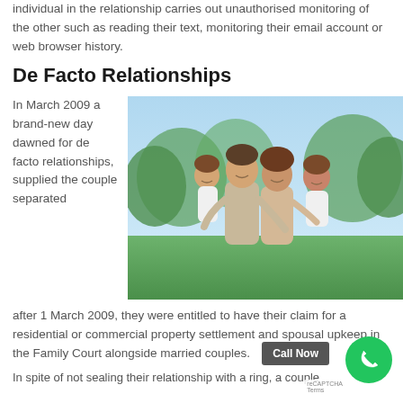individual in the relationship carries out unauthorised monitoring of the other such as reading their text, monitoring their email account or web browser history.
De Facto Relationships
In March 2009 a brand-new day dawned for de facto relationships, supplied the couple separated after 1 March 2009, they were entitled to have their claim for a residential or commercial property settlement and spousal upkeep in the Family Court alongside married couples.
[Figure (photo): A smiling family of four (father, mother, and two children) posing outdoors on green grass with trees in the background.]
In spite of not sealing their relationship with a ring, a couple